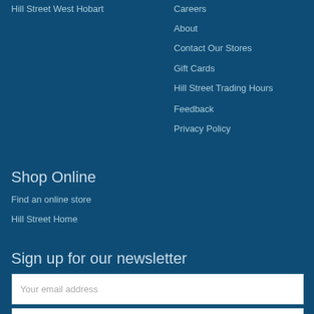Hill Street West Hobart
Careers
About
Contact Our Stores
Gift Cards
Hill Street Trading Hours
Feedback
Privacy Policy
Shop Online
Find an online store
Hill Street Home
Sign up for our newsletter
Your email address
Your first name